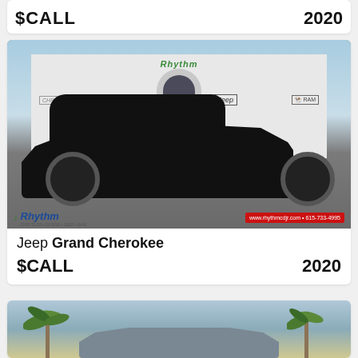$CALL  2020
[Figure (photo): Black Jeep Grand Cherokee SUV parked in front of Rhythm Chrysler Dodge Jeep Ram dealership. The image shows the dealership building with brand logos and a Rhythm logo watermark. Website www.rhythmcdjr.com and phone 615-733-4995 shown in red bar at bottom.]
Jeep Grand Cherokee
$CALL  2020
[Figure (photo): Partial view of another vehicle, appears to be a Jeep Grand Cherokee, parked outdoors with palm trees visible in background.]